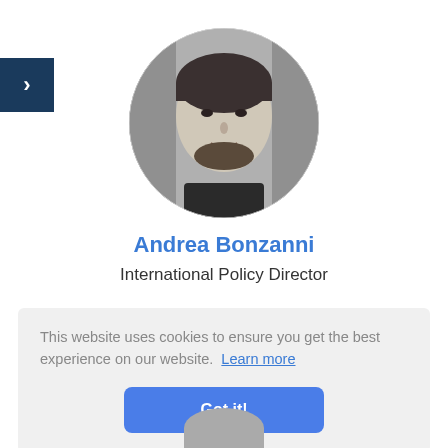[Figure (photo): Circular profile photo of Andrea Bonzanni, a man with dark hair and beard, black and white photo]
Andrea Bonzanni
International Policy Director
This website uses cookies to ensure you get the best experience on our website. Learn more
Got it!